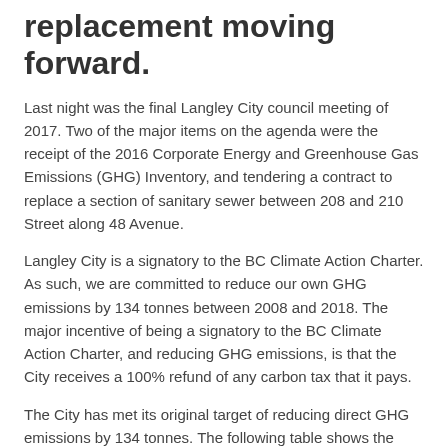replacement moving forward.
Last night was the final Langley City council meeting of 2017. Two of the major items on the agenda were the receipt of the 2016 Corporate Energy and Greenhouse Gas Emissions (GHG) Inventory, and tendering a contract to replace a section of sanitary sewer between 208 and 210 Street along 48 Avenue.
Langley City is a signatory to the BC Climate Action Charter. As such, we are committed to reduce our own GHG emissions by 134 tonnes between 2008 and 2018. The major incentive of being a signatory to the BC Climate Action Charter, and reducing GHG emissions, is that the City receives a 100% refund of any carbon tax that it pays.
The City has met its original target of reducing direct GHG emissions by 134 tonnes. The following table shows the year-over-year reduction throughout the last eight years. Most of the reductions in GHG emissions have been obtained by making municipally-owned buildings more energy efficient. There is still work to be done to make our